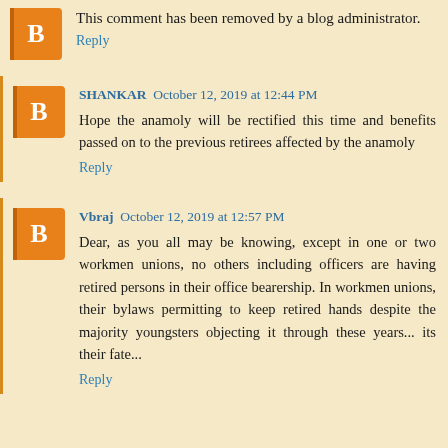This comment has been removed by a blog administrator.
Reply
SHANKAR October 12, 2019 at 12:44 PM
Hope the anamoly will be rectified this time and benefits passed on to the previous retirees affected by the anamoly
Reply
Vbraj October 12, 2019 at 12:57 PM
Dear, as you all may be knowing, except in one or two workmen unions, no others including officers are having retired persons in their office bearership. In workmen unions, their bylaws permitting to keep retired hands despite the majority youngsters objecting it through these years... its their fate...
Reply